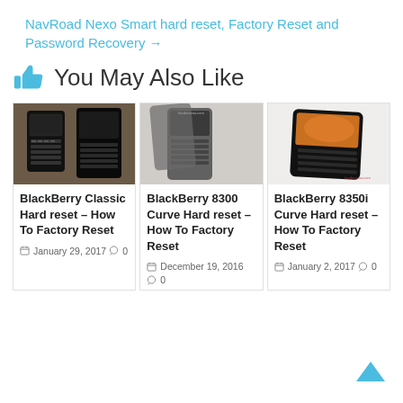NavRoad Nexo Smart hard reset, Factory Reset and Password Recovery →
You May Also Like
[Figure (photo): Photo of two BlackBerry Classic phones held in hands, showing keyboard]
BlackBerry Classic Hard reset – How To Factory Reset
January 29, 2017  0
[Figure (photo): Photo of BlackBerry 8300 Curve phone disassembled showing parts]
BlackBerry 8300 Curve Hard reset – How To Factory Reset
December 19, 2016  0
[Figure (photo): Photo of BlackBerry 8350i Curve phone with orange screen]
BlackBerry 8350i Curve Hard reset – How To Factory Reset
January 2, 2017  0